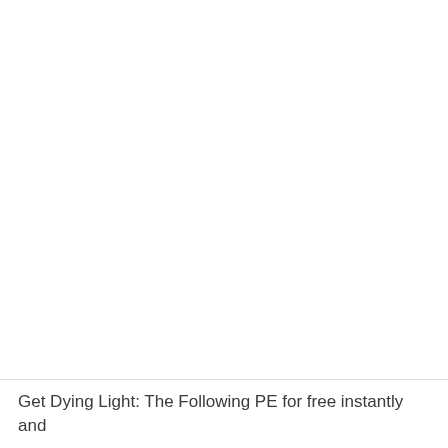Get Dying Light: The Following PE for free instantly and